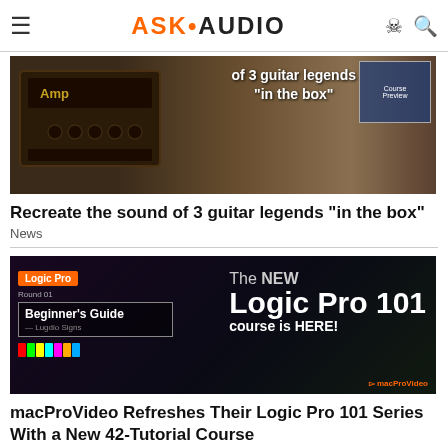ASK•AUDIO
[Figure (photo): Guitar amplifier image with text overlay: of 3 guitar legends "in the box"]
Recreate the sound of 3 guitar legends "in the box"
News
[Figure (photo): Logic Pro Beginner's Guide course banner with text: The NEW Logic Pro 101 course is HERE!]
macProVideo Refreshes Their Logic Pro 101 Series With a New 42-Tutorial Course
News
RELATED ARTICLES